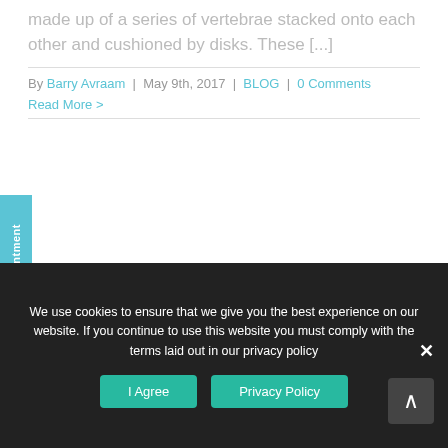made up of a series of vertebrae stacked onto each other and cushioned by disks. These [...]
By Barry Avraam | May 9th, 2017 | BLOG | 0 Comments
Read More >
an Appointment
WHY CHOOSE BODILIGHT?
We use cookies to ensure that we give you the best experience on our website. If you continue to use this website you must comply with the terms laid out in our privacy policy
I Agree
Privacy Policy